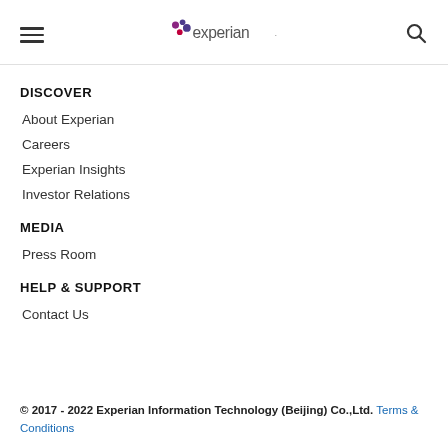Experian navigation header with hamburger menu, Experian logo, and search icon
DISCOVER
About Experian
Careers
Experian Insights
Investor Relations
MEDIA
Press Room
HELP & SUPPORT
Contact Us
© 2017 - 2022 Experian Information Technology (Beijing) Co.,Ltd. Terms & Conditions